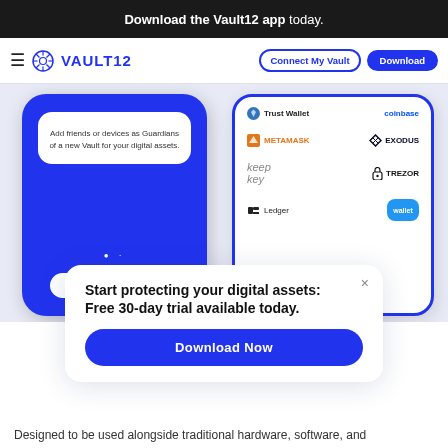Download the Vault12 app today.
[Figure (screenshot): Vault12 website navigation bar with hamburger menu, Vault12 logo, Connect My Vault and Download buttons]
[Figure (screenshot): Two smartphones showing Vault12 app: left phone shows 'Add friends or devices as Guardians of a new Vault for your digital assets' with a Choose button; right phone shows a list of wallet integrations: Trust Wallet, coinbase, METAMASK, EXODUS, KeepKey, TREZOR, Ledger, and a blue wallet app]
Start protecting your digital assets: Free 30-day trial available today.
Download Now
Designed to be used alongside traditional hardware, software, and